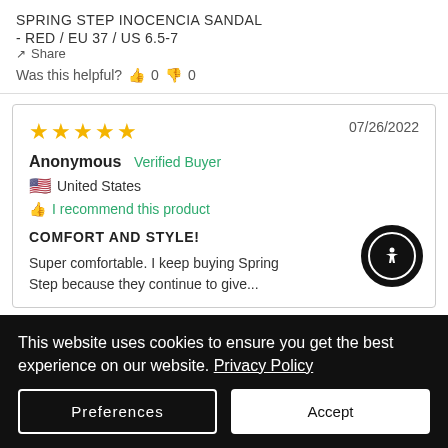SPRING STEP INOCENCIA SANDAL - RED / EU 37 / US 6.5-7
Share
Was this helpful? 0 0
07/26/2022
★★★★★
Anonymous Verified Buyer
United States
I recommend this product
COMFORT AND STYLE!
Super comfortable. I keep buying Spring Step because they continue to give...
This website uses cookies to ensure you get the best experience on our website. Privacy Policy
Preferences
Accept